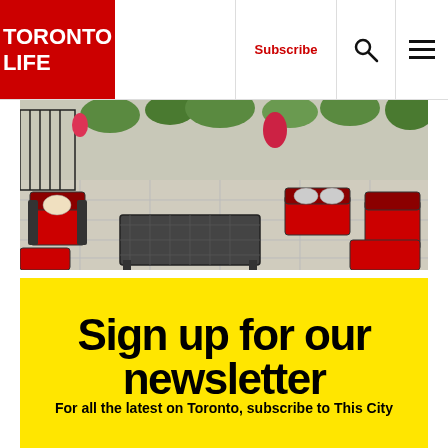TORONTO LIFE
Subscribe
[Figure (photo): Outdoor patio with red cushioned black metal furniture, including chairs, a loveseat, and a coffee table on a stone patio with greenery and a decorative fence in the background.]
Sign up for our newsletter
For all the latest on Toronto, subscribe to This City